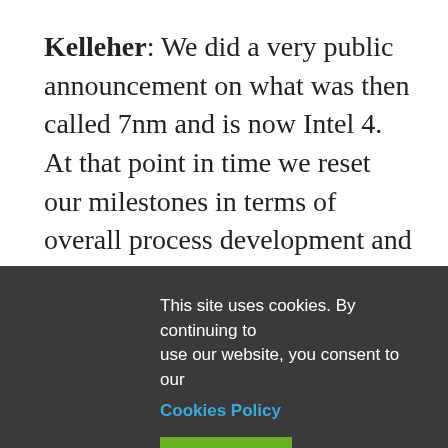Kelleher: We did a very public announcement on what was then called 7nm and is now Intel 4. At that point in time we reset our milestones in terms of overall process development and defect density. Since then we also began working on what was basically a parallel process to streamline the process flow and really increased our use of EUV within that process. With that we were able to switch over from the original version of the process flow to the new version going into this year. It's going very well.
This site uses cookies. By continuing to use our website, you consent to our Cookies Policy